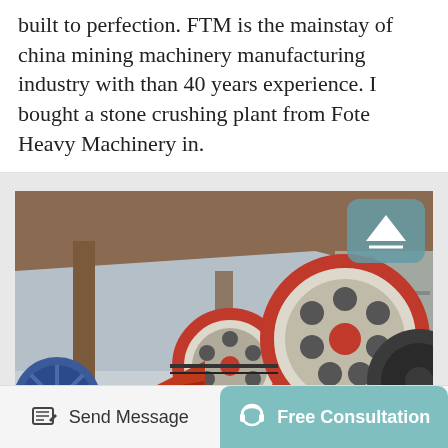built to perfection. FTM is the mainstay of china mining machinery manufacturing industry with than 40 years experience. I bought a stone crushing plant from Fote Heavy Machinery in.
[Figure (photo): Photograph of a stone crushing plant / jaw crusher machine mounted on a steel frame in an industrial facility, showing large red-rimmed flywheels, a white crusher body, orange components, and a blue wheel on the left side. A scroll-to-top button overlay appears in the top-right corner of the image.]
Send Message
Free Consultation